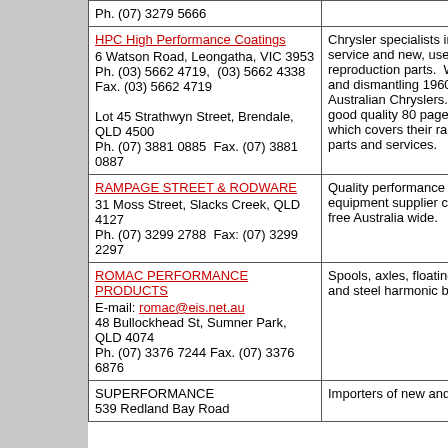| Business Name / Address | Description |
| --- | --- |
| Ph. (07) 3279 5666 |  |
| HPC High Performance Coatings
6 Watson Road, Leongatha, VIC 3953
Ph. (03) 5662 4719, (03) 5662 4338
Fax. (03) 5662 4719

Lot 45 Strathwyn Street, Brendale, QLD 4500
Ph. (07) 3881 0885 Fax. (07) 3881 0887 | Chrysler specialists in service and new, used reproduction parts. W and dismantling 1960 Australian Chryslers. a good quality 80 page which covers their ran parts and services. |
| RAMPAGE STREET & RODWARE
31 Moss Street, Slacks Creek, QLD 4127
Ph. (07) 3299 2788 Fax: (07) 3299 2297 | Quality performance equipment supplier ca free Australia wide. |
| ROMAC PERFORMANCE PRODUCTS
E-mail: romac@eis.net.au
48 Bullockhead St, Sumner Park, QLD 4074
Ph. (07) 3376 7244 Fax. (07) 3376 6876 | Spools, axles, floating and steel harmonic bal |
| SUPERFORMANCE
539 Redland Bay Road | Importers of new and |